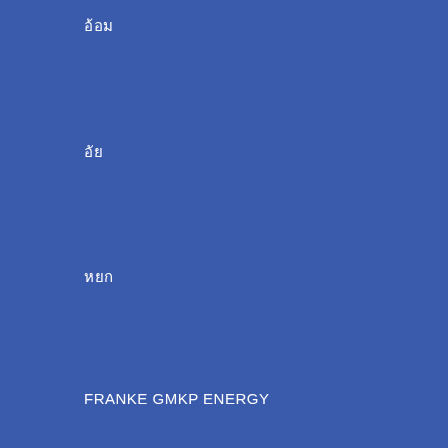อ้อม
อัย
หยก
FRANKE GMKP ENERGY
SCHNEIDER
MARVEL
OMRON เนย
TAMCO บาร์ค
OMRON